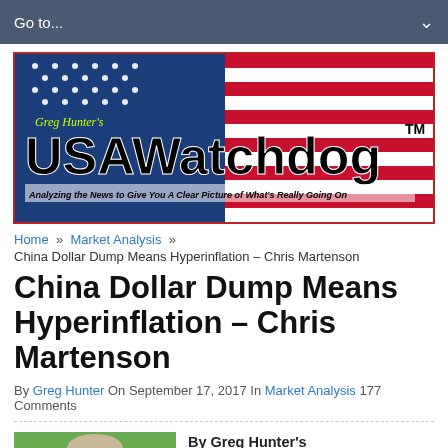Go to...
[Figure (logo): Greg Hunter's USAWatchdog logo banner with American flag background and tagline: Analyzing the News to Give You A Clear Picture of What's Really Going On]
Home » Market Analysis »
China Dollar Dump Means Hyperinflation – Chris Martenson
China Dollar Dump Means Hyperinflation – Chris Martenson
By Greg Hunter On September 17, 2017 In Market Analysis 177 Comments
[Figure (photo): Photo of a middle-aged man with grey/brown hair in front of green grass background]
By Greg Hunter's USAWatchdog.com (Early Sunday Release)